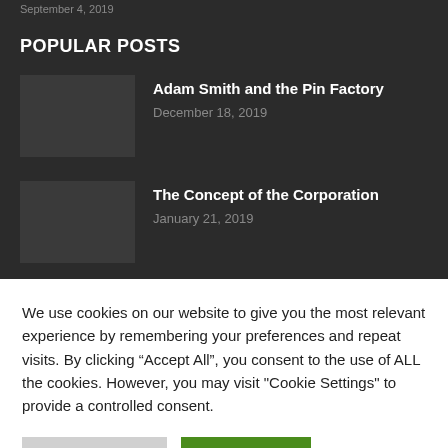September 4, 2019
POPULAR POSTS
Adam Smith and the Pin Factory
December 18, 2019
The Concept of the Corporation
January 21, 2019
We use cookies on our website to give you the most relevant experience by remembering your preferences and repeat visits. By clicking “Accept All”, you consent to the use of ALL the cookies. However, you may visit "Cookie Settings" to provide a controlled consent.